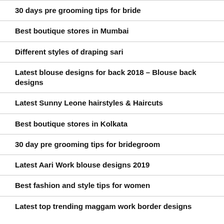30 days pre grooming tips for bride
Best boutique stores in Mumbai
Different styles of draping sari
Latest blouse designs for back 2018 – Blouse back designs
Latest Sunny Leone hairstyles & Haircuts
Best boutique stores in Kolkata
30 day pre grooming tips for bridegroom
Latest Aari Work blouse designs 2019
Best fashion and style tips for women
Latest top trending maggam work border designs